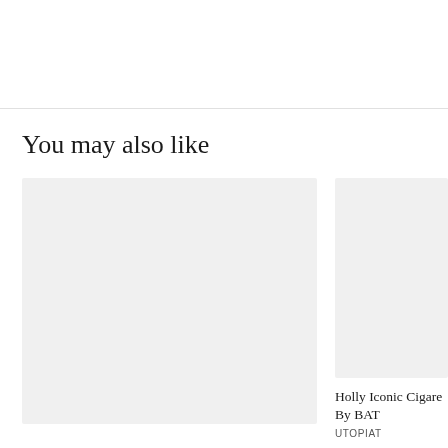You may also like
[Figure (photo): Large placeholder image card on the left, light gray background]
[Figure (photo): Smaller placeholder image card on the right, light gray background, with title text below]
Holly Iconic Cigare
By BAT
UTOPIAT